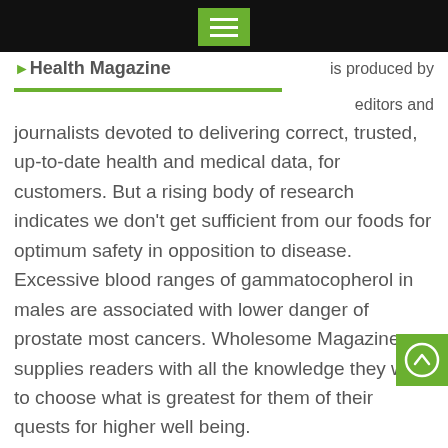Health Magazine
is produced by editors and journalists devoted to delivering correct, trusted, up-to-date health and medical data, for customers. But a rising body of research indicates we don't get sufficient from our foods for optimum safety in opposition to disease. Excessive blood ranges of gammatocopherol in males are associated with lower danger of prostate most cancers. Wholesome Magazine supplies readers with all the knowledge they want to choose what is greatest for them of their quests for higher well being.
The products and the claims made about specific products on or by this web site have not been evaluated by The Wellness Imperative Individuals or